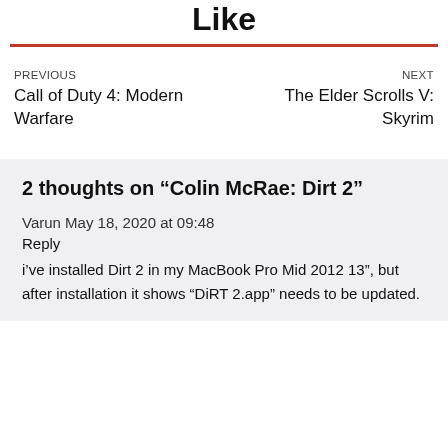Like
PREVIOUS
Call of Duty 4: Modern Warfare
NEXT
The Elder Scrolls V: Skyrim
2 thoughts on “Colin McRae: Dirt 2”
Varun May 18, 2020 at 09:48
Reply
i’ve installed Dirt 2 in my MacBook Pro Mid 2012 13”, but after installation it shows “DiRT 2.app” needs to be updated.